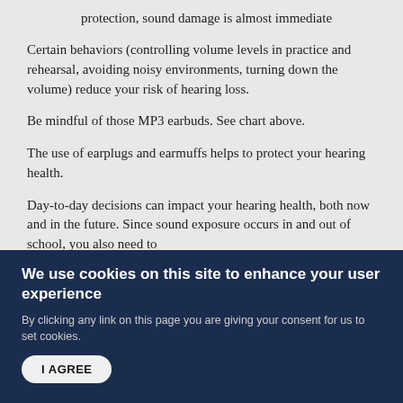protection, sound damage is almost immediate
Certain behaviors (controlling volume levels in practice and rehearsal, avoiding noisy environments, turning down the volume) reduce your risk of hearing loss.
Be mindful of those MP3 earbuds. See chart above.
The use of earplugs and earmuffs helps to protect your hearing health.
Day-to-day decisions can impact your hearing health, both now and in the future. Since sound exposure occurs in and out of school, you also need to
We use cookies on this site to enhance your user experience
By clicking any link on this page you are giving your consent for us to set cookies.
I AGREE